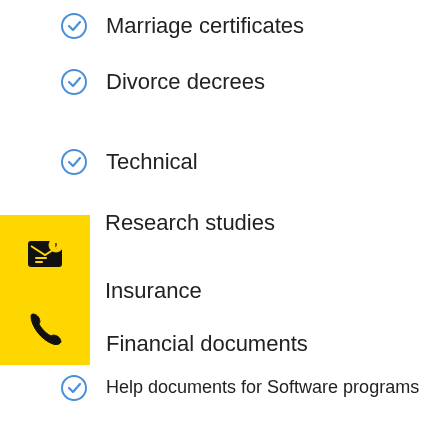Marriage certificates
Divorce decrees
Technical
Research studies
Insurance
Financial documents
Help documents for Software programs
Education documents
Medical documents